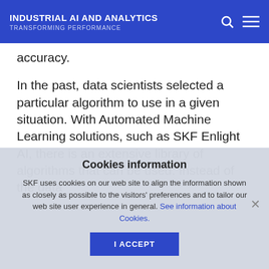INDUSTRIAL AI AND ANALYTICS
TRANSFORMING PERFORMANCE
accuracy.
In the past, data scientists selected a particular algorithm to use in a given situation. With Automated Machine Learning solutions, such as SKF Enlight AI, there is an extensive library of algorithms that can be used. Instead of the data
Cookies information
SKF uses cookies on our web site to align the information shown as closely as possible to the visitors' preferences and to tailor our web site user experience in general. See information about Cookies.
I ACCEPT